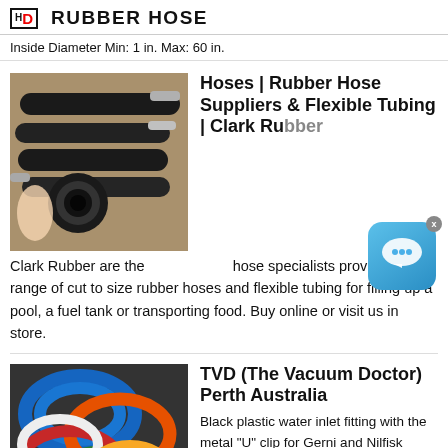HD RUBBER HOSE
Inside Diameter Min: 1 in. Max: 60 in.
[Figure (photo): Black rubber hoses and tubing laid on a wooden surface, one showing a round cross-section opening]
Hoses | Rubber Hose Suppliers & Flexible Tubing | Clark Rubber
Clark Rubber are the hose specialists providing a range of cut to size rubber hoses and flexible tubing for filling up a pool, a fuel tank or transporting food. Buy online or visit us in store.
[Figure (photo): Colorful coiled rubber hoses in blue, orange, red, green, and white colors]
TVD (The Vacuum Doctor) Perth Australia
Black plastic water inlet fitting with the metal "U" clip for Gerni and Nilfisk Classic 120.5 domestic use cold